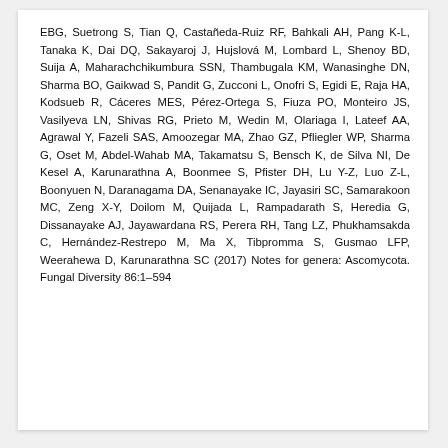EBG, Suetrong S, Tian Q, Castañeda-Ruiz RF, Bahkali AH, Pang K-L, Tanaka K, Dai DQ, Sakayaroj J, Hujslová M, Lombard L, Shenoy BD, Suija A, Maharachchikumbura SSN, Thambugala KM, Wanasinghe DN, Sharma BO, Gaikwad S, Pandit G, Zucconi L, Onofri S, Egidi E, Raja HA, Kodsueb R, Cáceres MES, Pérez-Ortega S, Fiuza PO, Monteiro JS, Vasilyeva LN, Shivas RG, Prieto M, Wedin M, Olariaga I, Lateef AA, Agrawal Y, Fazeli SAS, Amoozegar MA, Zhao GZ, Pfliegler WP, Sharma G, Oset M, Abdel-Wahab MA, Takamatsu S, Bensch K, de Silva NI, De Kesel A, Karunarathna A, Boonmee S, Pfister DH, Lu Y-Z, Luo Z-L, Boonyuen N, Daranagama DA, Senanayake IC, Jayasiri SC, Samarakoon MC, Zeng X-Y, Doilom M, Quijada L, Rampadarath S, Heredia G, Dissanayake AJ, Jayawardana RS, Perera RH, Tang LZ, Phukhamsakda C, Hernández-Restrepo M, Ma X, Tibpromma S, Gusmao LFP, Weerahewa D, Karunarathna SC (2017) Notes for genera: Ascomycota. Fungal Diversity 86:1–594